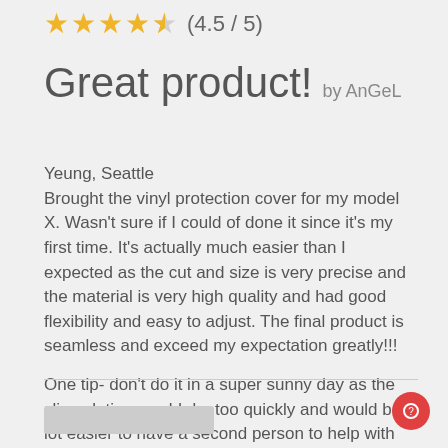[Figure (other): Star rating: 4.5 out of 5 stars (4 full gold stars and 1 half gold star), with text (4.5 / 5)]
Great product! by AnGeL
Yeung, Seattle
Brought the vinyl protection cover for my model X. Wasn't sure if I could of done it since it's my first time. It's actually much easier than I expected as the cut and size is very precise and the material is very high quality and had good flexibility and easy to adjust. The final product is seamless and exceed my expectation greatly!!!
One tip- don't do it in a super sunny day as the slip solution would dry too quickly and would be a lot easier to have a second person to help with the initial peeling off and positioning as the sheet is quiet long.